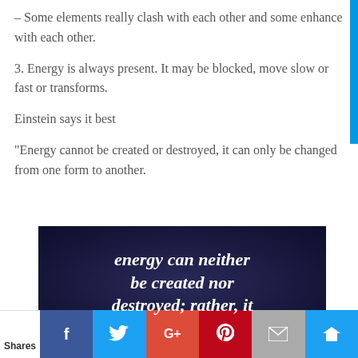– Some elements really clash with each other and some enhance with each other.
3. Energy is always present. It may be blocked, move slow or fast or transforms.
Einstein says it best
“Energy cannot be created or destroyed, it can only be changed from one form to another.
[Figure (photo): Dark blue/purple starry background image with white bold italic text reading 'energy can neither be created nor destroyed; rather, it' (text cut off at bottom)]
Shares | Facebook | Twitter | Google+ | Pinterest | Email | Crown icon